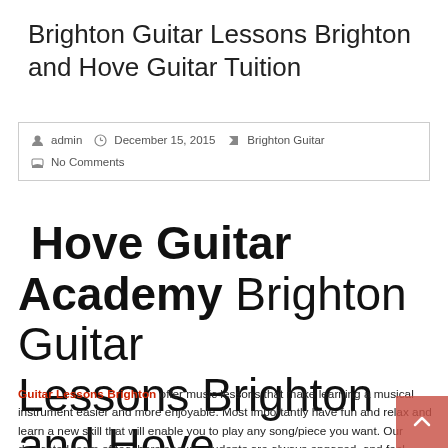Brighton Guitar Lessons Brighton and Hove Guitar Tuition
admin   December 15, 2015   Brighton Guitar   No Comments
Hove Guitar Academy Brighton Guitar Lessons Brighton and Hove Guitar Tuition
Guitar Lessons Brighton offer music lessons that make learning a musical instrument easier and more enjoyable. Most importantly have fun and relax and learn a new skill that will enable you to play any song/piece you want. Our dedicated team of teachers ensure students are always engaged, and feel inspired to play! We have